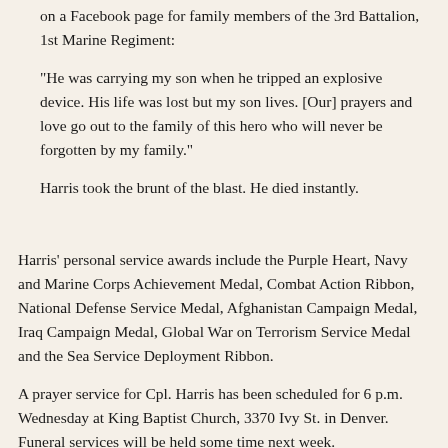on a Facebook page for family members of the 3rd Battalion, 1st Marine Regiment:
"He was carrying my son when he tripped an explosive device. His life was lost but my son lives. [Our] prayers and love go out to the family of this hero who will never be forgotten by my family."
Harris took the brunt of the blast. He died instantly.
Harris' personal service awards include the Purple Heart, Navy and Marine Corps Achievement Medal, Combat Action Ribbon, National Defense Service Medal, Afghanistan Campaign Medal, Iraq Campaign Medal, Global War on Terrorism Service Medal and the Sea Service Deployment Ribbon.
A prayer service for Cpl. Harris has been scheduled for 6 p.m. Wednesday at King Baptist Church, 3370 Ivy St. in Denver. Funeral services will be held some time next week.
Update, July 2011: